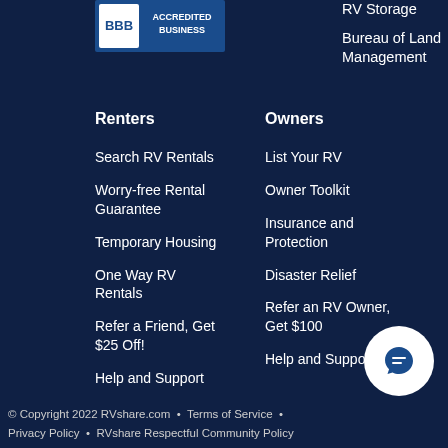[Figure (logo): BBB Accredited Business badge with blue and white design]
RV Storage
Bureau of Land Management
Renters
Owners
Search RV Rentals
List Your RV
Worry-free Rental Guarantee
Owner Toolkit
Temporary Housing
Insurance and Protection
One Way RV Rentals
Disaster Relief
Refer a Friend, Get $25 Off!
Refer an RV Owner, Get $100
Help and Support
Help and Support
© Copyright 2022 RVshare.com  •  Terms of Service  •  Privacy Policy  •  RVshare Respectful Community Policy